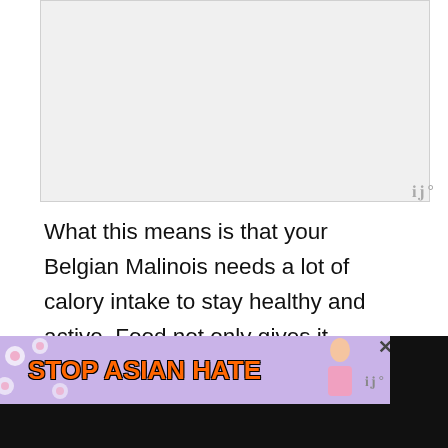[Figure (photo): Light gray image placeholder at top of page]
What this means is that your Belgian Malinois needs a lot of calory intake to stay healthy and active. Food not only gives it energy but also keeps it healthy and makes its body stronger to fight diseases. Malnutrition is the number one cause of several canine diseases that we covered before when talking about this energetic dog.
[Figure (infographic): STOP ASIAN HATE advertisement banner with purple/floral background, orange bold text, and a character illustration]